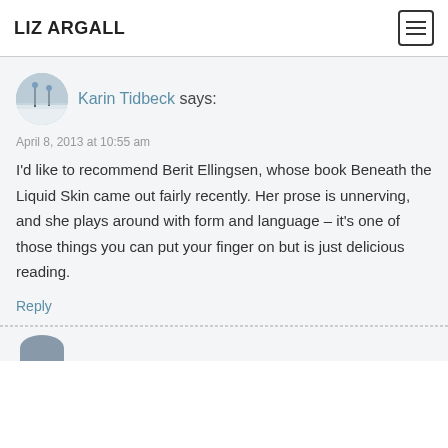LIZ ARGALL
Karin Tidbeck says:
April 8, 2013 at 10:55 am
I'd like to recommend Berit Ellingsen, whose book Beneath the Liquid Skin came out fairly recently. Her prose is unnerving, and she plays around with form and language – it's one of those things you can put your finger on but is just delicious reading.
Reply